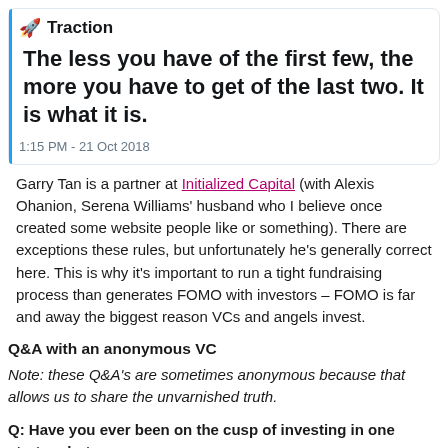[Figure (screenshot): Tweet from Traction account with rocket emoji, showing text: 'The less you have of the first few, the more you have to get of the last two. It is what it is.' timestamped 1:15 PM - 21 Oct 2018]
Garry Tan is a partner at Initialized Capital (with Alexis Ohanion, Serena Williams' husband who I believe once created some website people like or something). There are exceptions these rules, but unfortunately he's generally correct here. This is why it's important to run a tight fundraising process than generates FOMO with investors – FOMO is far and away the biggest reason VCs and angels invest.
Q&A with an anonymous VC
Note: these Q&A's are sometimes anonymous because that allows us to share the unvarnished truth.
Q: Have you ever been on the cusp of investing in one startup, but